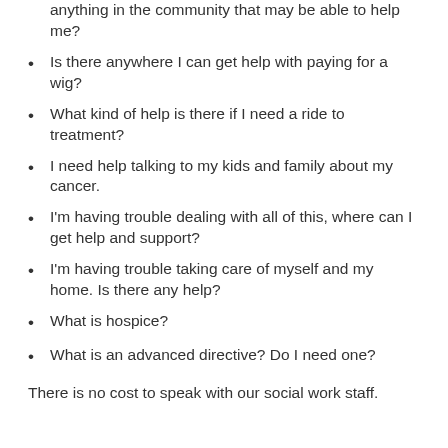anything in the community that may be able to help me?
Is there anywhere I can get help with paying for a wig?
What kind of help is there if I need a ride to treatment?
I need help talking to my kids and family about my cancer.
I'm having trouble dealing with all of this, where can I get help and support?
I'm having trouble taking care of myself and my home. Is there any help?
What is hospice?
What is an advanced directive? Do I need one?
There is no cost to speak with our social work staff.